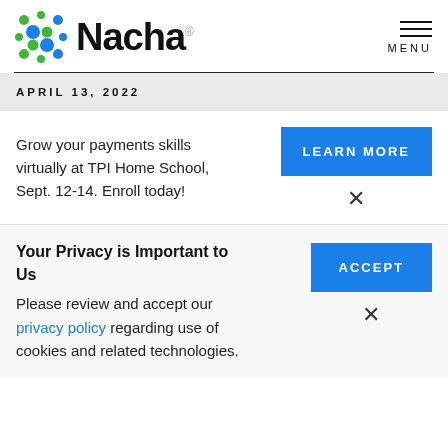[Figure (logo): Nacha logo with colorful dot pattern on left and bold Nacha wordmark]
[Figure (other): Hamburger menu icon with three horizontal lines and MENU label below]
APRIL 13, 2022
Grow your payments skills virtually at TPI Home School, Sept. 12-14. Enroll today!
LEARN MORE
×
Your Privacy is Important to Us
Please review and accept our privacy policy regarding use of cookies and related technologies.
ACCEPT
×